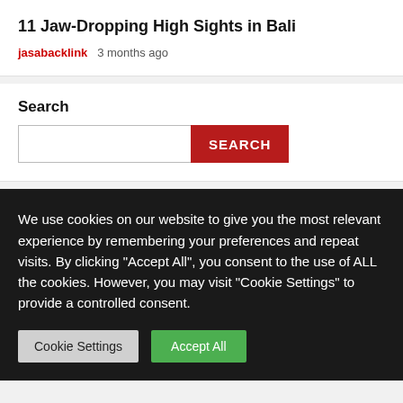11 Jaw-Dropping High Sights in Bali
jasabacklink  3 months ago
Search
We use cookies on our website to give you the most relevant experience by remembering your preferences and repeat visits. By clicking "Accept All", you consent to the use of ALL the cookies. However, you may visit "Cookie Settings" to provide a controlled consent.